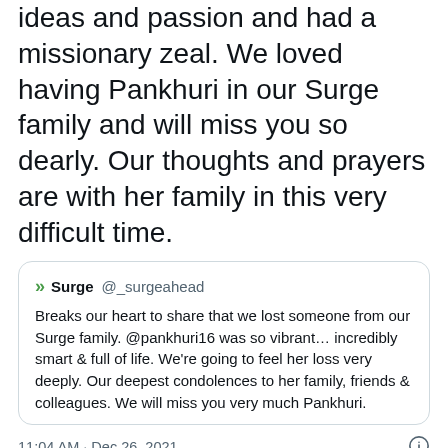ideas and passion and had a missionary zeal. We loved having Pankhuri in our Surge family and will miss you so dearly. Our thoughts and prayers are with her family in this very difficult time.
[Figure (screenshot): Embedded tweet from @_surgeahead quoting condolences for Pankhuri16. Quote tweet contains text: Breaks our heart to share that we lost someone from our Surge family. @pankhuri16 was so vibrant… incredibly smart & full of life. We're going to feel her loss very deeply. Our deepest condolences to her family, friends & colleagues. We will miss you very much Pankhuri.]
11:04 AM · Dec 26, 2021
149 Reply Copy link
Read 20 replies
Shrimstave had been modest about the many